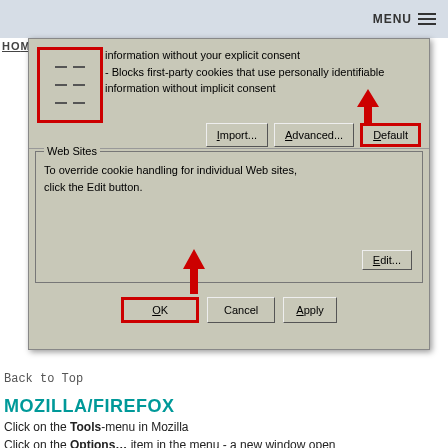MENU
[Figure (screenshot): Windows Internet Explorer cookie settings dialog box, partially visible. Shows text about first-party cookies blocking personally identifiable information. Three buttons: Import..., Advanced..., Default (highlighted with red border and red arrow). Web Sites section with text 'To override cookie handling for individual Web sites, click the Edit button.' and an Edit... button. Bottom buttons: OK (highlighted with red border and red arrow pointing to it), Cancel, Apply.]
Back to Top
MOZILLA/FIREFOX
Click on the Tools-menu in Mozilla
Click on the Options... item in the menu - a new window open